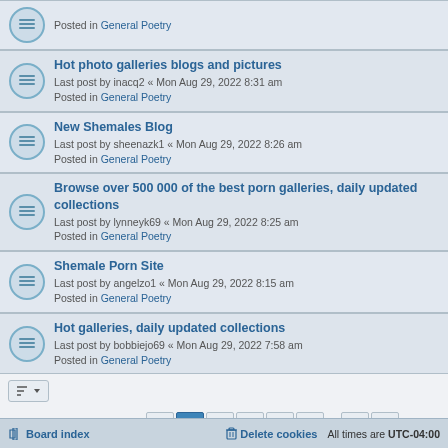Hot photo galleries blogs and pictures
Last post by inacq2 « Mon Aug 29, 2022 8:31 am
Posted in General Poetry
New Shemales Blog
Last post by sheenazk1 « Mon Aug 29, 2022 8:26 am
Posted in General Poetry
Browse over 500 000 of the best porn galleries, daily updated collections
Last post by lynneyk69 « Mon Aug 29, 2022 8:25 am
Posted in General Poetry
Shemale Porn Site
Last post by angelzo1 « Mon Aug 29, 2022 8:15 am
Posted in General Poetry
Hot galleries, daily updated collections
Last post by bobbiejo69 « Mon Aug 29, 2022 7:58 am
Posted in General Poetry
Search found 880 matches
Board index   Delete cookies   All times are UTC-04:00